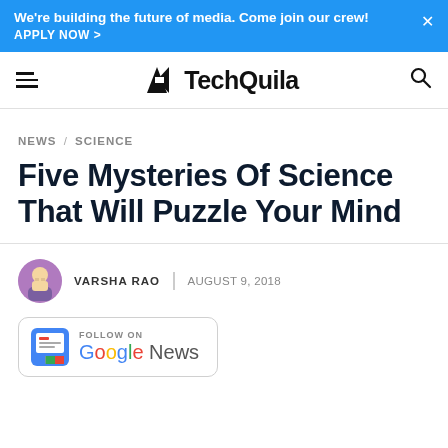We're building the future of media. Come join our crew! APPLY NOW >
[Figure (logo): TechQuila website navigation bar with hamburger menu, TechQuila logo, and search icon]
NEWS / SCIENCE
Five Mysteries Of Science That Will Puzzle Your Mind
VARSHA RAO | AUGUST 9, 2018
[Figure (other): Follow on Google News badge with Google News logo]